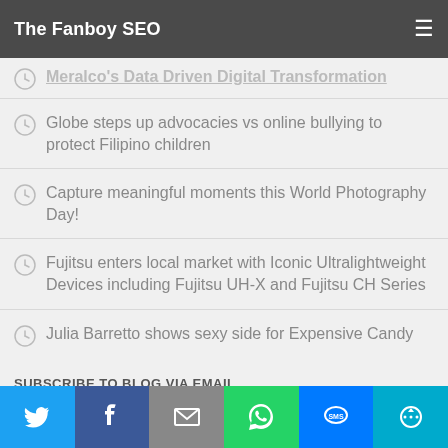The Fanboy SEO
Meralco's Data Driven Digital Transformation
Globe steps up advocacies vs online bullying to protect Filipino children
Capture meaningful moments this World Photography Day!
Fujitsu enters local market with Iconic Ultralightweight Devices including Fujitsu UH-X and Fujitsu CH Series
Julia Barretto shows sexy side for Expensive Candy
SUBSCRIBE TO BLOG VIA EMAIL
Enter your email address to subscribe to this blog and receive notifications of new posts by email.